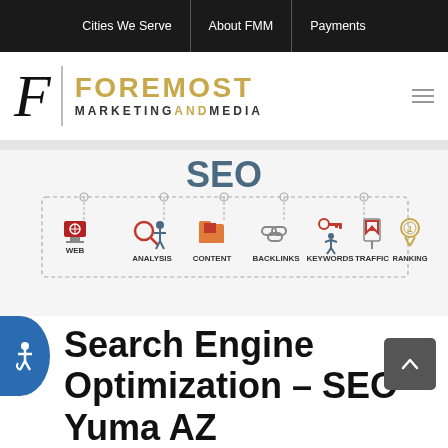Cities We Serve | About FMM | Payments
[Figure (logo): Foremost Marketing and Media logo with stylized F and gold text]
[Figure (infographic): SEO infographic showing web, analysis, content, backlinks, keywords, traffic, ranking, optimization icons connected by dashed lines under 'SEO' heading]
Search Engine Optimization – SEO Yuma AZ